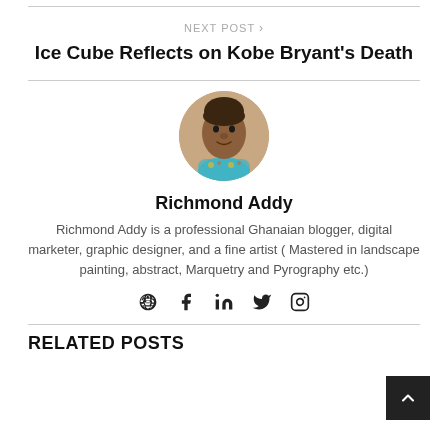NEXT POST >
Ice Cube Reflects on Kobe Bryant’s Death
[Figure (photo): Circular profile photo of Richmond Addy, a man wearing a colorful patterned shirt]
Richmond Addy
Richmond Addy is a professional Ghanaian blogger, digital marketer, graphic designer, and a fine artist ( Mastered in landscape painting, abstract, Marquetry and Pyrography etc.)
[Figure (infographic): Social media icons: globe, Facebook, LinkedIn, Twitter, Instagram]
RELATED POSTS